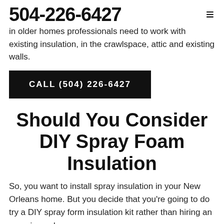504-226-6427
in older homes professionals need to work with existing insulation, in the crawlspace, attic and existing walls.
CALL (504) 226-6427
Should You Consider DIY Spray Foam Insulation
So, you want to install spray insulation in your New Orleans home. But you decide that you're going to do try a DIY spray form insulation kit rather than hiring an experienced